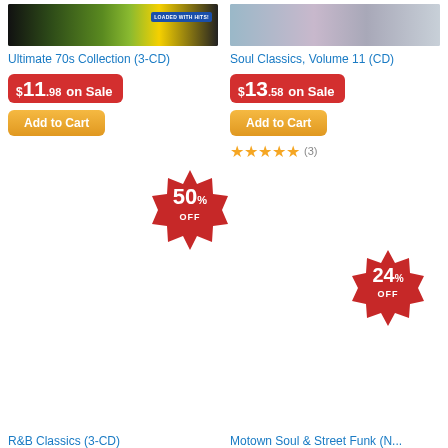[Figure (photo): Album cover image for Ultimate 70s Collection (3-CD)]
Ultimate 70s Collection (3-CD)
$11.98 on Sale
Add to Cart
[Figure (photo): Album cover image for Soul Classics, Volume 11 (CD)]
Soul Classics, Volume 11 (CD)
$13.58 on Sale
Add to Cart
(3) star rating
[Figure (infographic): 50% OFF starburst badge]
[Figure (infographic): 24% OFF starburst badge]
R&B Classics (3-CD)
Motown Soul & Street Funk (N...